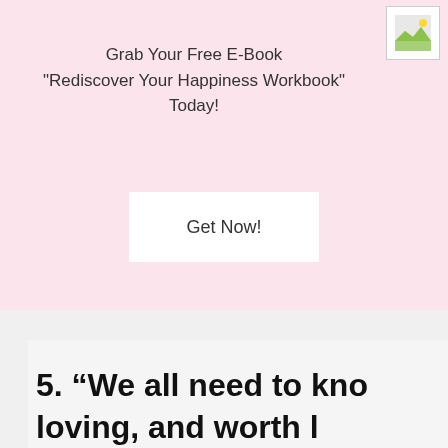[Figure (illustration): Small image icon placeholder in top right corner of pink banner]
Grab Your Free E-Book
"Rediscover Your Happiness Workbook" Today!
Get Now!
5. “We all need to kno… loving, and worth l…
Eleanor Ro…